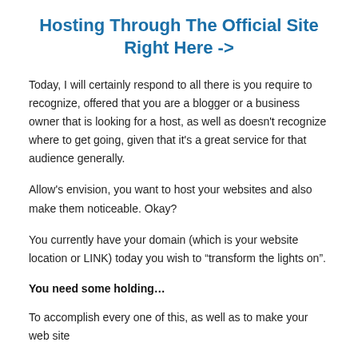Hosting Through The Official Site Right Here ->
Today, I will certainly respond to all there is you require to recognize, offered that you are a blogger or a business owner that is looking for a host, as well as doesn't recognize where to get going, given that it's a great service for that audience generally.
Allow's envision, you want to host your websites and also make them noticeable. Okay?
You currently have your domain (which is your website location or LINK) today you wish to “transform the lights on”.
You need some holding…
To accomplish every one of this, as well as to make your web site